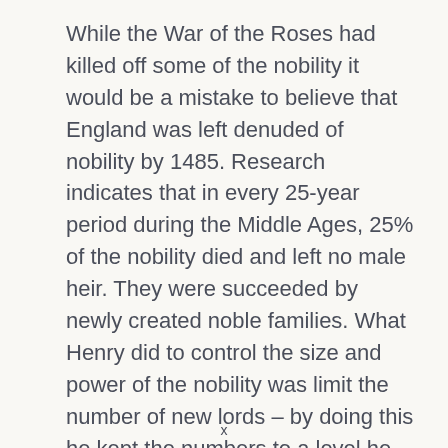While the War of the Roses had killed off some of the nobility it would be a mistake to believe that England was left denuded of nobility by 1485. Research indicates that in every 25-year period during the Middle Ages, 25% of the nobility died and left no male heir. They were succeeded by newly created noble families. What Henry did to control the size and power of the nobility was limit the number of new lords – by doing this he kept the numbers to a level he felt he could better handle. Such an approach also had other affects. To be appointed to the senior social echelons in the reign of Henry VII was seen as a great honour as it was a rarity.
x